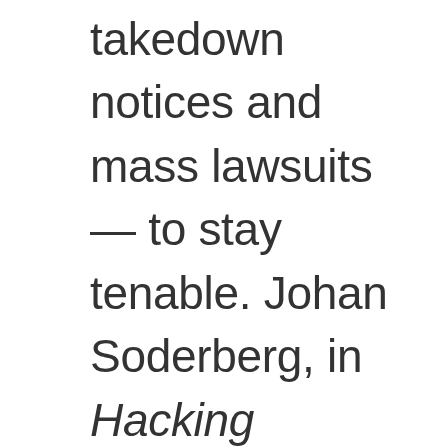takedown notices and mass lawsuits — to stay tenable. Johan Soderberg, in Hacking Capitalism: The Free and Open